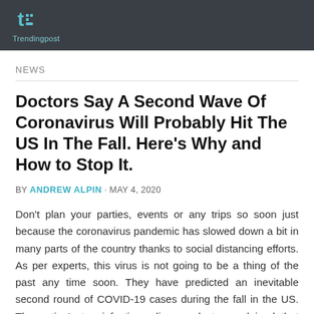TrendingPost
NEWS
Doctors Say A Second Wave Of Coronavirus Will Probably Hit The US In The Fall. Here's Why and How to Stop It.
BY ANDREW ALPIN · MAY 4, 2020
Don't plan your parties, events or any trips so soon just because the coronavirus pandemic has slowed down a bit in many parts of the country thanks to social distancing efforts. As per experts, this virus is not going to be a thing of the past any time soon. They have predicted an inevitable second round of COVID-19 cases during the fall in the US. The nation's top infectious disease doctor explained that there is an increase in how people are trying to resume their regular life. For this, more states are either easing or lifting their